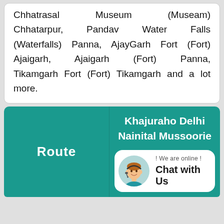Chhatrasal Museum (Museam) Chhatarpur, Pandav Water Falls (Waterfalls) Panna, AjayGarh Fort (Fort) Ajaigarh, Ajaigarh (Fort) Panna, Tikamgarh Fort (Fort) Tikamgarh and a lot more.
Route
Khajuraho Delhi Nainital Mussoorie
! We are online ! Chat with Us